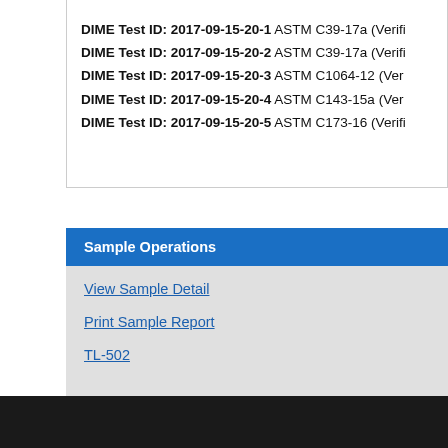DIME Test ID: 2017-09-15-20-1 ASTM C39-17a (Verifi...
DIME Test ID: 2017-09-15-20-2 ASTM C39-17a (Verifi...
DIME Test ID: 2017-09-15-20-3 ASTM C1064-12 (Ver...
DIME Test ID: 2017-09-15-20-4 ASTM C143-15a (Ver...
DIME Test ID: 2017-09-15-20-5 ASTM C173-16 (Verifi...
Sample Operations
View Sample Detail
Print Sample Report
TL-502